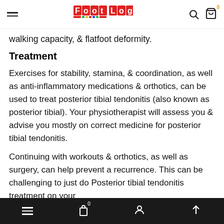Foot Log — navigation header with logo, hamburger menu, search and cart icons
walking capacity, & flatfoot deformity.
Treatment
Exercises for stability, stamina, & coordination, as well as anti-inflammatory medications & orthotics, can be used to treat posterior tibial tendonitis (also known as posterior tibial). Your physiotherapist will assess you & advise you mostly on correct medicine for posterior tibial tendonitis.
Continuing with workouts & orthotics, as well as surgery, can help prevent a recurrence. This can be challenging to just do Posterior tibial tendonitis treatment on your
Mobile bottom navigation bar with menu, cart (0), account, and up arrow icons